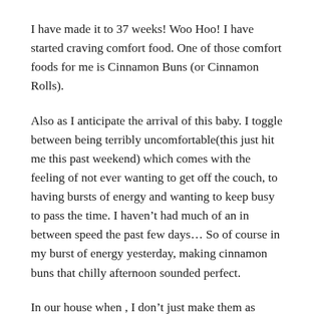I have made it to 37 weeks! Woo Hoo! I have started craving comfort food. One of those comfort foods for me is Cinnamon Buns (or Cinnamon Rolls).
Also as I anticipate the arrival of this baby. I toggle between being terribly uncomfortable(this just hit me this past weekend) which comes with the feeling of not ever wanting to get off the couch, to having bursts of energy and wanting to keep busy to pass the time. I haven't had much of an in between speed the past few days... So of course in my burst of energy yesterday, making cinnamon buns that chilly afternoon sounded perfect.
In our house when , I don't just make them as breakfast or a dessert. I make them for dinner, with bacon... So